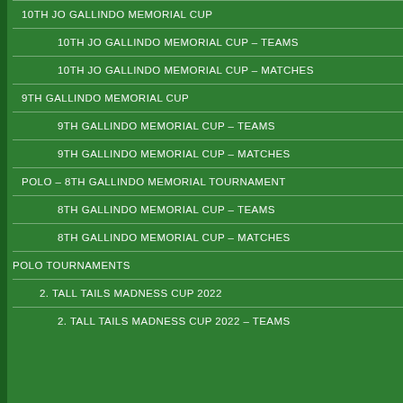10TH JO GALLINDO MEMORIAL CUP
10TH JO GALLINDO MEMORIAL CUP – TEAMS
10TH JO GALLINDO MEMORIAL CUP – MATCHES
9TH GALLINDO MEMORIAL CUP
9TH GALLINDO MEMORIAL CUP – TEAMS
9TH GALLINDO MEMORIAL CUP – MATCHES
POLO – 8TH GALLINDO MEMORIAL TOURNAMENT
8TH GALLINDO MEMORIAL CUP – TEAMS
8TH GALLINDO MEMORIAL CUP – MATCHES
POLO TOURNAMENTS
2. TALL TAILS MADNESS CUP 2022
2. TALL TAILS MADNESS CUP 2022 – TEAMS